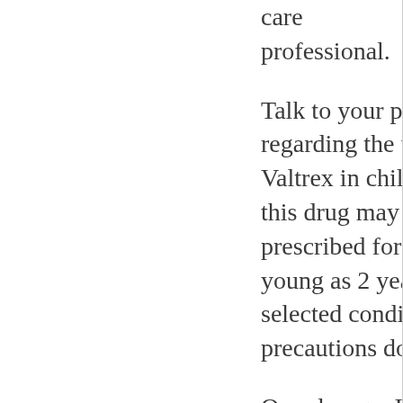care professional.
Talk to your pediatrician regarding the use of Valtrex in children. While this drug may be prescribed for children as young as 2 years for selected conditions, precautions do apply.
Overdosage: If you think you